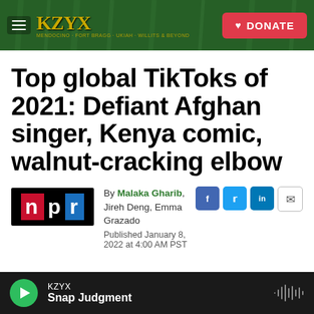KZYX | DONATE
Top global TikToks of 2021: Defiant Afghan singer, Kenya comic, walnut-cracking elbow
[Figure (logo): NPR logo — red N, white P, blue R on black background]
By Malaka Gharib, Jireh Deng, Emma Grazado
Published January 8, 2022 at 4:00 AM PST
KZYX — Snap Judgment